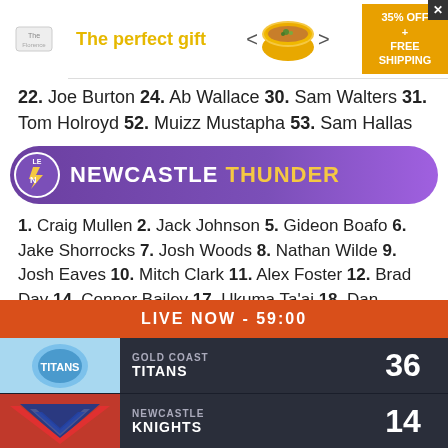[Figure (other): Advertisement banner: 'The perfect gift' with soup bowl image, arrows, and '35% OFF + FREE SHIPPING' promo]
22. Joe Burton 24. Ab Wallace 30. Sam Walters 31. Tom Holroyd 52. Muizz Mustapha 53. Sam Hallas
[Figure (logo): Newcastle Thunder rugby league club logo and banner with purple background]
1. Craig Mullen 2. Jack Johnson 5. Gideon Boafo 6. Jake Shorrocks 7. Josh Woods 8. Nathan Wilde 9. Josh Eaves 10. Mitch Clark 11. Alex Foster 12. Brad Day 14. Connor Bailey 17. Ukuma Ta'ai 18. Dan Coates 19. Pat Moran 20. Brad Gallagher 21. Lewis Peachey 22. Alex Donaghy 23. Isaac Nokes 25. Nathan Clemmitt 28. Alex Sutton 35. Jack Croft
LIVE NOW - 59:00
| Team | Score |
| --- | --- |
| GOLD COAST TITANS | 36 |
| NEWCASTLE KNIGHTS | 14 |